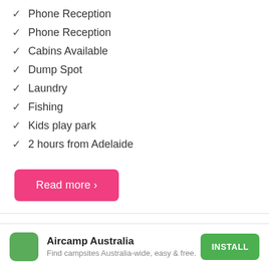✓ Phone Reception
✓ Phone Reception
✓ Cabins Available
✓ Dump Spot
✓ Laundry
✓ Fishing
✓ Kids play park
✓ 2 hours from Adelaide
Read more ›
Aircamp Australia
Find campsites Australia-wide, easy & free.
INSTALL